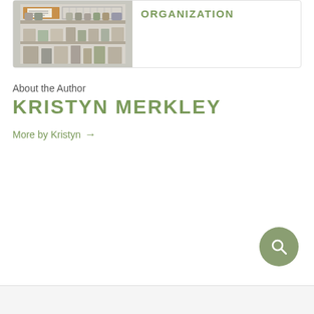[Figure (photo): Photo of a kitchen pantry organizer with shelves showing a corkboard, cans, jars and supplies]
ORGANIZATION
About the Author
KRISTYN MERKLEY
More by Kristyn →